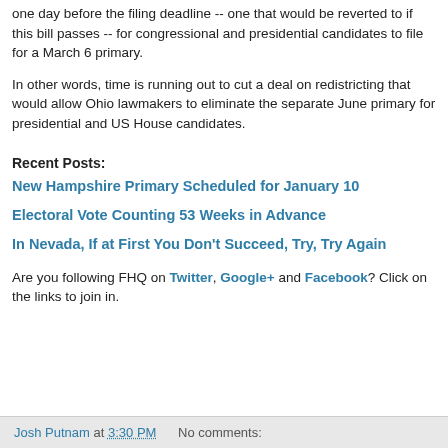one day before the filing deadline -- one that would be reverted to if this bill passes -- for congressional and presidential candidates to file for a March 6 primary.
In other words, time is running out to cut a deal on redistricting that would allow Ohio lawmakers to eliminate the separate June primary for presidential and US House candidates.
Recent Posts:
New Hampshire Primary Scheduled for January 10
Electoral Vote Counting 53 Weeks in Advance
In Nevada, If at First You Don't Succeed, Try, Try Again
Are you following FHQ on Twitter, Google+ and Facebook? Click on the links to join in.
Josh Putnam at 3:30 PM   No comments: